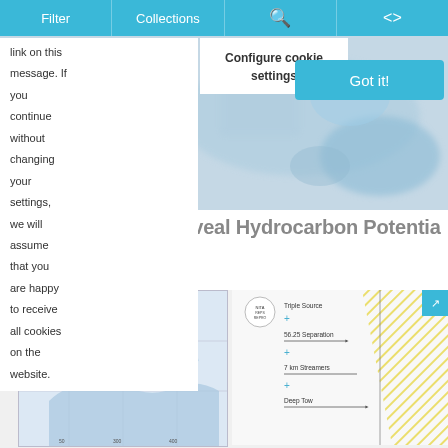Filter | Collections | [search icon] | [share icon]
link on this message. If you continue without changing your settings, we will assume that you are happy to receive all cookies on the website.
Configure cookie settings
Got it!
Diving Deeper to Reveal Hydrocarbon Potential in the Barents Sea
[Figure (map): Map showing survey area in the Barents Sea with GEOExPro branding and legend]
[Figure (schematic): Acquisition diagram showing Triple Source, 56.25 Separation, 7 km Streamers, and Deep Tow configuration with yellow hatch pattern and logo]